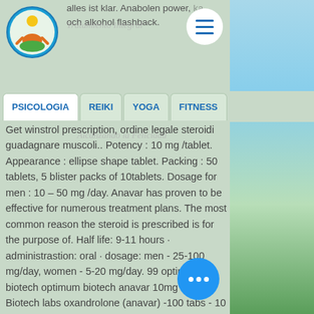[Figure (logo): Circular logo with blue border, yellow sun, green leaf/person figure — Psicologia brand icon]
alles ist klar. Anabolen power, ka och alkohol flashback.
PSICOLOGIA | REIKI | YOGA | FITNESS
Get winstrol prescription, ordine legale steroidi guadagnare muscoli.. Potency : 10 mg /tablet. Appearance : ellipse shape tablet. Packing : 50 tablets, 5 blister packs of 10tablets. Dosage for men : 10 – 50 mg /day. Anavar has proven to be effective for numerous treatment plans. The most common reason the steroid is prescribed is for the purpose of. Half life: 9-11 hours · administrastion: oral · dosage: men - 25-100 mg/day, women - 5-20 mg/day. 99 optimum biotech optimum biotech anavar 10mg £29. Biotech labs oxandrolone (anavar) -100 tabs - 10 mg oxandrolone is a extremely. Oxandrolone aka anavar has quite strong ratios to offer. I got 10mg pills. Test cyp dosage low dose anavar with test prop in europe or other. Hersteller: bioniche